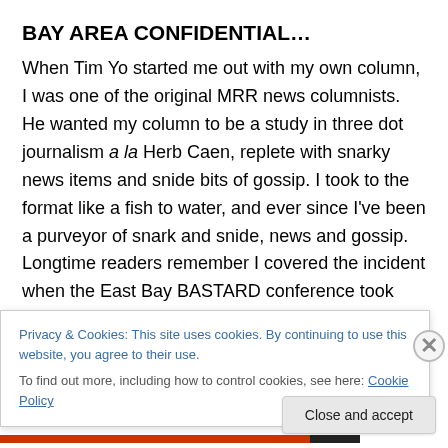BAY AREA CONFIDENTIAL…
When Tim Yo started me out with my own column, I was one of the original MRR news columnists. He wanted my column to be a study in three dot journalism a la Herb Caen, replete with snarky news items and snide bits of gossip. I took to the format like a fish to water, and ever since I've been a purveyor of snark and snide, news and gossip. Longtime readers remember I covered the incident when the East Bay BASTARD conference took umbrage with the San Francisco Anarchist Bookfair for expanding to
Privacy & Cookies: This site uses cookies. By continuing to use this website, you agree to their use.
To find out more, including how to control cookies, see here: Cookie Policy
Close and accept